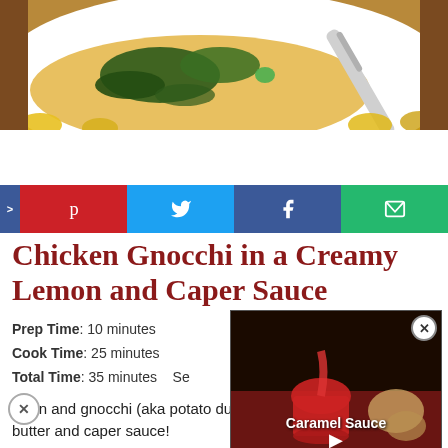[Figure (photo): Close-up photo of chicken gnocchi dish with wilted greens in a creamy sauce on a white plate, with a silver fork, placed on a wooden surface with yellow gnocchi pieces visible.]
[Figure (infographic): Social media share bar with Pinterest (red), Twitter (light blue), Facebook (dark blue), and Email (green) buttons showing respective icons.]
Chicken Gnocchi in a Creamy Lemon and Caper Sauce
Prep Time: 10 minutes
Cook Time: 25 minutes
Total Time: 35 minutes   Se
[Figure (screenshot): Floating video overlay showing caramel sauce being poured into a glass dish, with text Caramel Sauce and a play button, and a close (X) button in the top right corner.]
icken and gnocchi (aka potato dumplings) in a creamy lemon, butter and caper sauce!